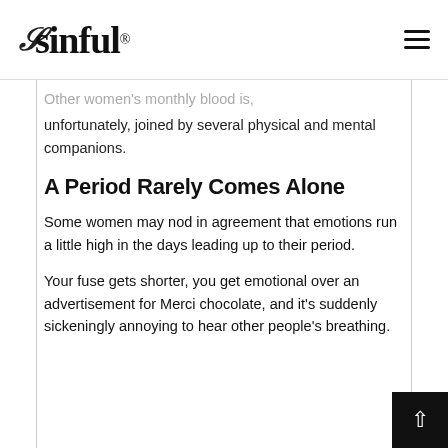sinful®
...Other women's monthly blood is, unfortunately, joined by several physical and mental companions.
A Period Rarely Comes Alone
Some women may nod in agreement that emotions run a little high in the days leading up to their period.
Your fuse gets shorter, you get emotional over an advertisement for Merci chocolate, and it's suddenly sickeningly annoying to hear other people's breathing.